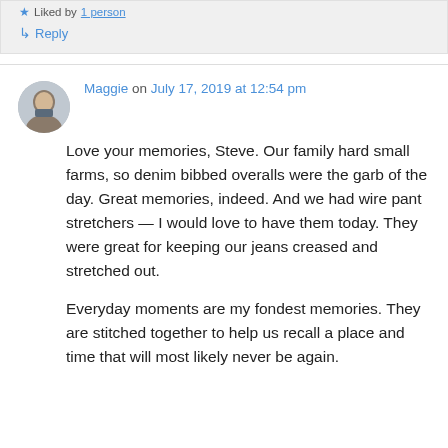Liked by 1 person
↳ Reply
Maggie on July 17, 2019 at 12:54 pm
Love your memories, Steve. Our family hard small farms, so denim bibbed overalls were the garb of the day. Great memories, indeed. And we had wire pant stretchers — I would love to have them today. They were great for keeping our jeans creased and stretched out.

Everyday moments are my fondest memories. They are stitched together to help us recall a place and time that will most likely never be again.